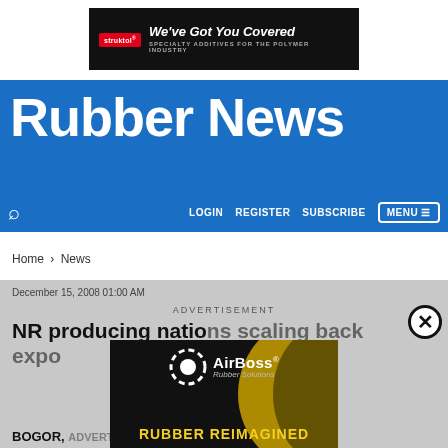[Figure (other): Struktol advertisement banner: 'We've Got You Covered - Specialty Additives for the Polymer Industry']
Rubber News
LOGIN   REGISTER   SUBSCRIBE   MENU
Home > News
December 15, 2008 01:00 AM
NR producing nations scaling back expo...
[Figure (other): AirBoss Rubber Solutions advertisement: 'RUBBER REIMAGINED' with yellow and black rubber imagery]
BOGOR, ... s top